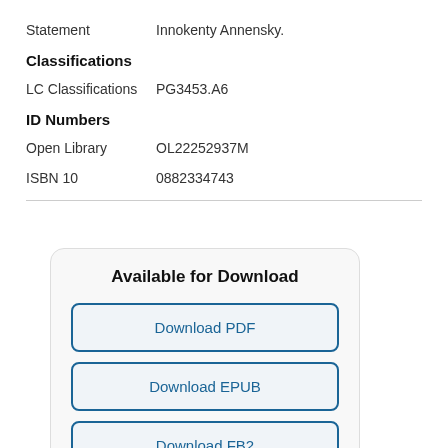Statement    Innokenty Annensky.
Classifications
LC Classifications    PG3453.A6
ID Numbers
Open Library    OL22252937M
ISBN 10    0882334743
Available for Download
Download PDF
Download EPUB
Download FB2
Download MOBI